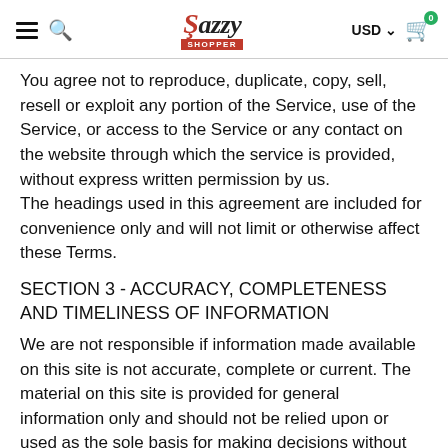Jazzy Shopper — USD — Cart (0)
You agree not to reproduce, duplicate, copy, sell, resell or exploit any portion of the Service, use of the Service, or access to the Service or any contact on the website through which the service is provided, without express written permission by us.
The headings used in this agreement are included for convenience only and will not limit or otherwise affect these Terms.
SECTION 3 - ACCURACY, COMPLETENESS AND TIMELINESS OF INFORMATION
We are not responsible if information made available on this site is not accurate, complete or current. The material on this site is provided for general information only and should not be relied upon or used as the sole basis for making decisions without consulting primary, more accurate, more complete or more timely sources of